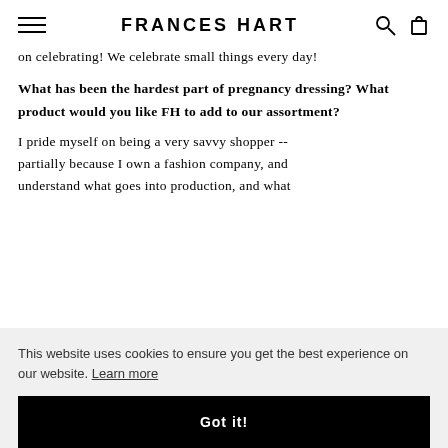FRANCES HART
on celebrating! We celebrate small things every day!
What has been the hardest part of pregnancy dressing? What product would you like FH to add to our assortment?
I pride myself on being a very savvy shopper -- partially because I own a fashion company, and understand what goes into production, and what
g is
ke to
rs
made with impeccable craftsmanship and design.
This website uses cookies to ensure you get the best experience on our website. Learn more
Got it!